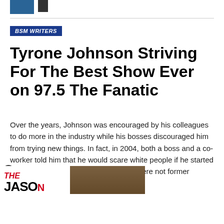[Figure (photo): Two small images at top: a blue image and a dark thumbnail]
BSM WRITERS
Tyrone Johnson Striving For The Best Show Ever on 97.5 The Fanatic
Over the years, Johnson was encouraged by his colleagues to do more in the industry while his bosses discouraged him from trying new things. In fact, in 2004, both a boss and a co-worker told him that he would scare white people if he started hosting, as there were not former athletes at that
[Figure (screenshot): Ad overlay showing The Jason Barrett Podcast logo on left and Jim Rome photo on right with text JIM ROME GOT NEW PLAYBO...]